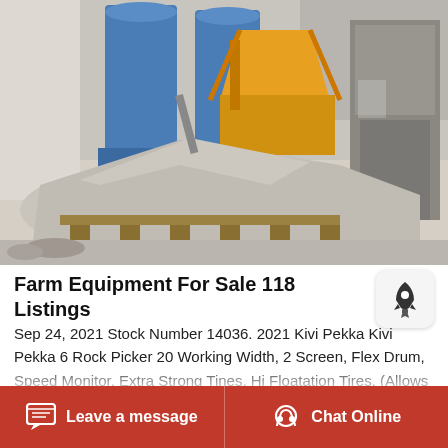[Figure (photo): Industrial farm or construction equipment facility interior showing large silos, yellow hopper/conveyor machinery, and a large pile of aggregate/gravel material on the floor inside a large warehouse building.]
Farm Equipment For Sale 118 Listings
Sep 24, 2021 Stock Number 14036. 2021 Kivi Pekka Kivi Pekka 6 Rock Picker 20 Working Width, 2 Screen, Flex Drum, Speed Monitor, Extra Strong Tines, Hi Floatation Tires, (Allows pickup of 20 rocks) Updated Fri, Aug 6, 2021 812 AM. Get Shipping Quotes Apply for Financing...
Leave a message   Chat Online